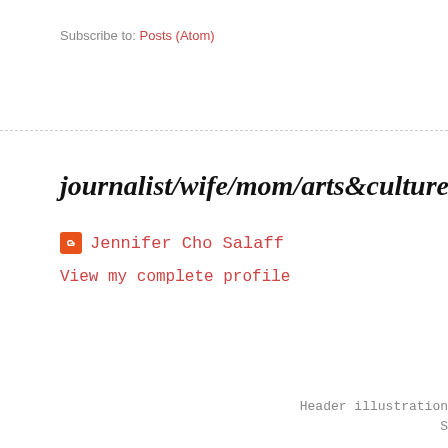Subscribe to: Posts (Atom)
journalist/wife/mom/arts&culture&style junkie
Jennifer Cho Salaff
View my complete profile
Header illustration
S